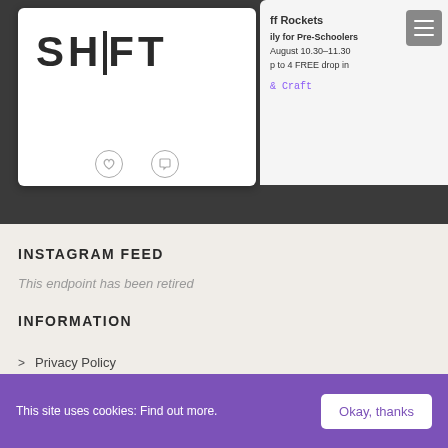[Figure (screenshot): A social media card showing the SHIFT logo on white background, with partial view of another card on the right showing rocket/craft event info, on a dark grey background. Comment and heart icons visible below the SHIFT card.]
INSTAGRAM FEED
This endpoint has been retired
INFORMATION
> Privacy Policy
> Press Resources
This site uses cookies: Find out more.
Okay, thanks